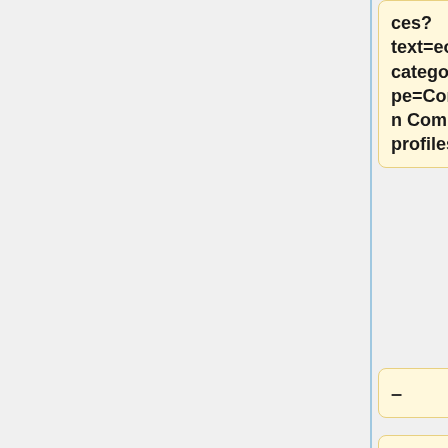ces? text=eoverdrachtcategory=Profile&corebasetype=Composition Composition] profiles.
-
The Composition resources reference each of the relevant resources included in the eOverdrachtbericht. The Composition resource and the relevant resources are